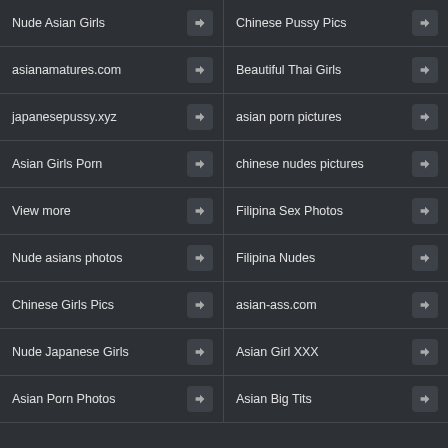Nude Asian Girls
Chinese Pussy Pics
asianamatures.com
Beautiful Thai Girls
japanesepussy.xyz
asian porn pictures
Asian Girls Porn
chinese nudes pictures
View more
Filipina Sex Photos
Nude asians photos
Filipina Nudes
Chinese Girls Pics
asian-ass.com
Nude Japanese Girls
Asian Girl XXX
Asian Porn Photos
Asian Big Tits